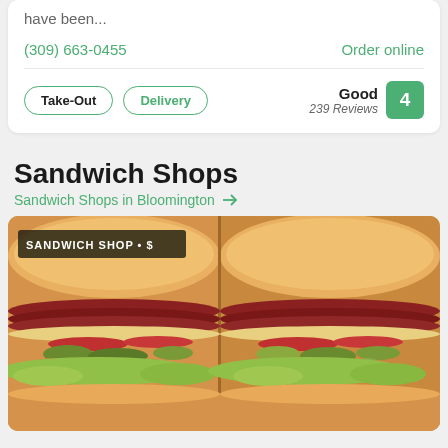have been...
(309) 663-0455
Order online
Take-Out
Delivery
Good
239 Reviews
4
Sandwich Shops
Sandwich Shops in Bloomington →
[Figure (photo): Photo of two sub sandwiches cut in half, filled with meats, cheese, lettuce, tomatoes, peppers and olives on hoagie rolls. Overlay badge reads 'SANDWICH SHOP • $']